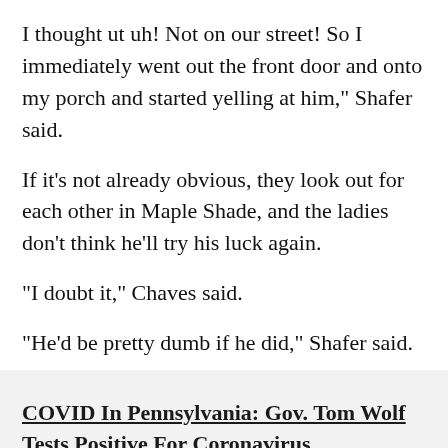I thought ut uh! Not on our street! So I immediately went out the front door and onto my porch and started yelling at him," Shafer said.
If it's not already obvious, they look out for each other in Maple Shade, and the ladies don't think he'll try his luck again.
"I doubt it," Chaves said.
"He'd be pretty dumb if he did," Shafer said.
MORE ON CBSPHILLY.COM
COVID In Pennsylvania: Gov. Tom Wolf Tests Positive For Coronavirus